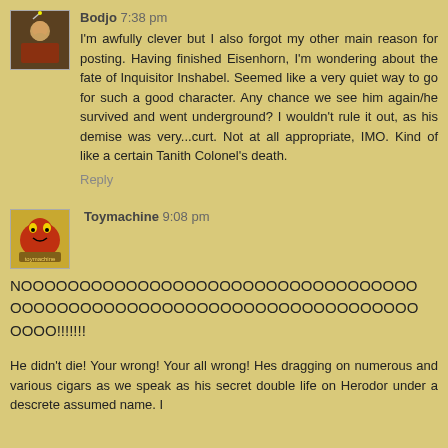Bodjo 7:38 pm
I'm awfully clever but I also forgot my other main reason for posting. Having finished Eisenhorn, I'm wondering about the fate of Inquisitor Inshabel. Seemed like a very quiet way to go for such a good character. Any chance we see him again/he survived and went underground? I wouldn't rule it out, as his demise was very...curt. Not at all appropriate, IMO. Kind of like a certain Tanith Colonel's death.
Reply
Toymachine 9:08 pm
NOOOOOOOOOOOOOOOOOOOOOOOOOOOOOOOOOOOOOOOOOOOOOOOOOOOOOOOOOOOOOOOOOOOOOOOOOOOOOOOOOOOOOOOOOOOOOO!!!!!!!
He didn't die! Your wrong! Your all wrong! Hes dragging on numerous and various cigars as we speak as his secret double life on Herodor under a descrete assumed name. I